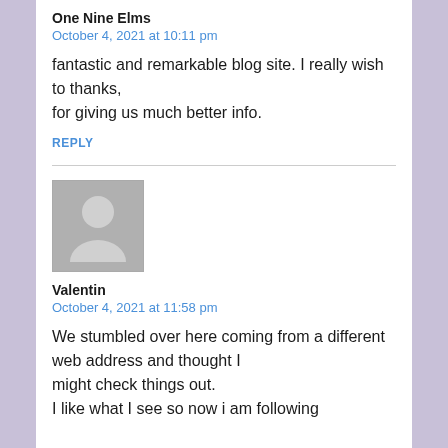One Nine Elms
October 4, 2021 at 10:11 pm
fantastic and remarkable blog site. I really wish to thanks,
for giving us much better info.
REPLY
[Figure (illustration): Default user avatar placeholder - grey silhouette of a person on grey background]
Valentin
October 4, 2021 at 11:58 pm
We stumbled over here coming from a different web address and thought I might check things out.
I like what I see so now i am following